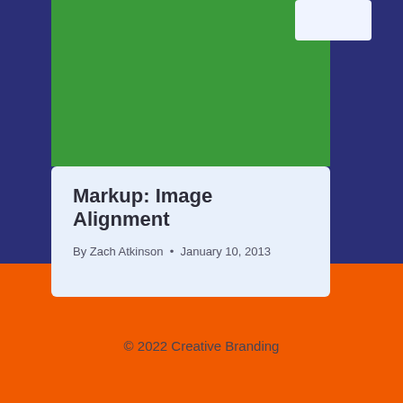[Figure (illustration): Dark navy background with orange footer section, green rectangular block at top center, and a white/light rectangle in top right corner]
Markup: Image Alignment
By Zach Atkinson  •  January 10, 2013
© 2022 Creative Branding